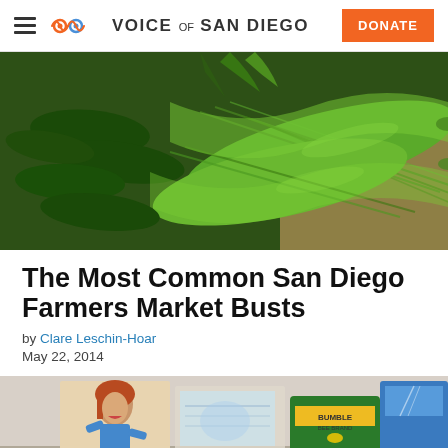Voice of San Diego | DONATE
[Figure (photo): Close-up photo of fresh green vegetables including cucumbers and ridged squash/luffa in a basket]
The Most Common San Diego Farmers Market Busts
by Clare Leschin-Hoar
May 22, 2014
[Figure (photo): Photo showing vintage-style collage with a woman, Bumble Bee brand tuna cans, and related imagery on a table]